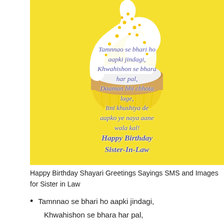[Figure (photo): Yellow background birthday greeting card image with a white frosted cupcake with yellow sprinkles on top. Overlaid text reads: 'Tamnnao se bhari ho aapki jindagi, Khwahishon se bhara har pal, Daaman bhi chhota lage, Itni khushiya de aapko ye naya aane wala kal! Happy Birthday Sister-In-Law']
Happy Birthday Shayari Greetings Sayings SMS and Images for Sister in Law
Tamnnao se bhari ho aapki jindagi,
Khwahishon se bhara har pal,